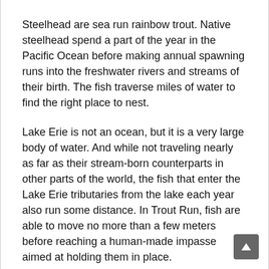Steelhead are sea run rainbow trout. Native steelhead spend a part of the year in the Pacific Ocean before making annual spawning runs into the freshwater rivers and streams of their birth. The fish traverse miles of water to find the right place to nest.
Lake Erie is not an ocean, but it is a very large body of water. And while not traveling nearly as far as their stream-born counterparts in other parts of the world, the fish that enter the Lake Erie tributaries from the lake each year also run some distance. In Trout Run, fish are able to move no more than a few meters before reaching a human-made impasse aimed at holding them in place.
Steelhead were introduced into Lake Erie. The lake’s tributaries and water conditions in Pennsylvania are not suitable for steelhead reproduction. The fish are not aware of that fact. They run the streams each year out of instinct and biological